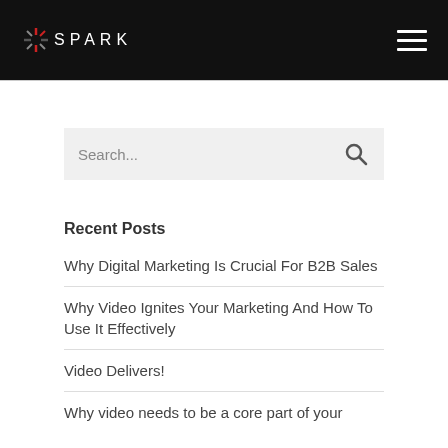[Figure (logo): SPARK logo on black header background]
Search...
Recent Posts
Why Digital Marketing Is Crucial For B2B Sales
Why Video Ignites Your Marketing And How To Use It Effectively
Video Delivers!
Why video needs to be a core part of your